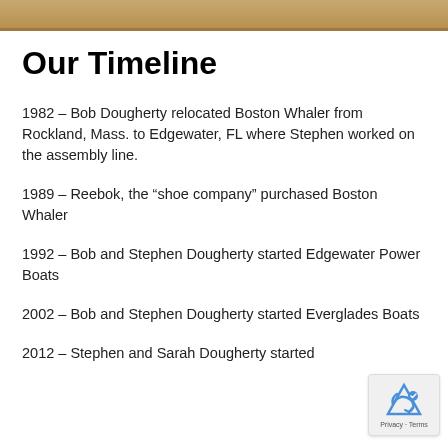[Figure (photo): Top image strip showing a boat or marine-related photograph, partially visible at the top of the page]
Our Timeline
1982 – Bob Dougherty relocated Boston Whaler from Rockland, Mass. to Edgewater, FL where Stephen worked on the assembly line.
1989 – Reebok, the “shoe company” purchased Boston Whaler
1992 – Bob and Stephen Dougherty started Edgewater Power Boats
2002 – Bob and Stephen Dougherty started Everglades Boats
2012 – Stephen and Sarah Dougherty started